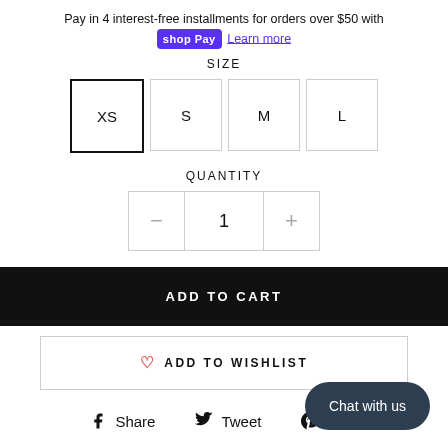Pay in 4 interest-free installments for orders over $50 with shop Pay Learn more
SIZE
XS  S  M  L
QUANTITY
- 1 +
ADD TO CART
♡ ADD TO WISHLIST
Share  Tweet  Pin it
Chat with us